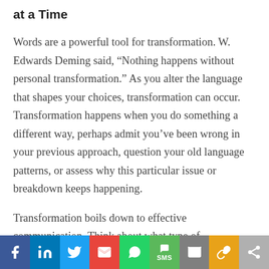at a Time
Words are a powerful tool for transformation. W. Edwards Deming said, “Nothing happens without personal transformation.” As you alter the language that shapes your choices, transformation can occur. Transformation happens when you do something a different way, perhaps admit you’ve been wrong in your previous approach, question your old language patterns, or assess why this particular issue or breakdown keeps happening.
Transformation boils down to effective communication. Think about what type of
[Figure (infographic): Social sharing bar with icons: Facebook (blue), LinkedIn (blue), Twitter (light blue), Gmail (red), WhatsApp (green), SMS (green), Email/Mail (grey), Link (yellow/gold), Share (grey)]